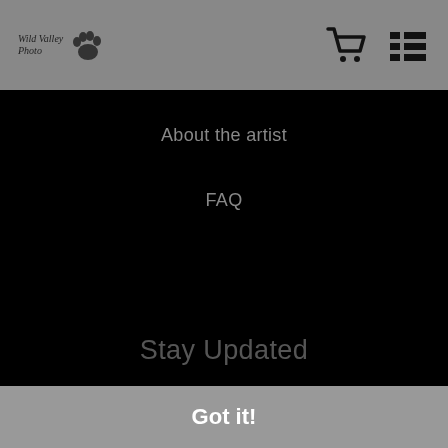Wild Valley Photo [logo with paw print]
About the artist
FAQ
Stay Updated
Facebook
Twitter
Instagram
[Figure (illustration): Art Storefronts store icon — a gazebo/market stall outline]
Proud Member of Art Storefronts
This website uses cookies to ensure you get the best experience on our website.
Got it!